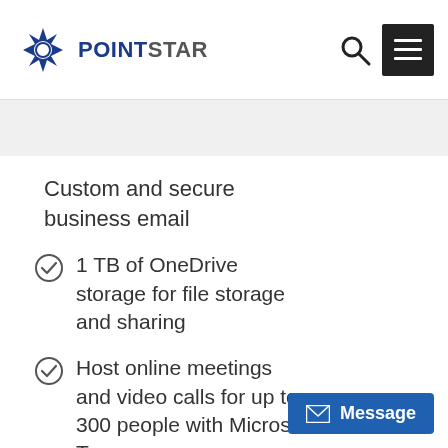[Figure (logo): PointStar logo with blue star icon and POINTSTAR wordmark]
Custom and secure business email
1 TB of OneDrive storage for file storage and sharing
Host online meetings and video calls for up to 300 people with Microsoft Teams